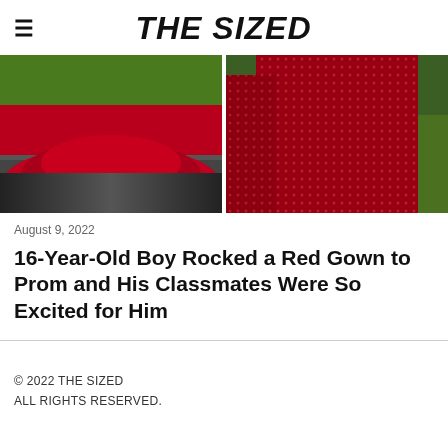THE SIZED
[Figure (photo): Two side-by-side photos of a red gown. Left photo shows the bottom/train of a layered red velvet ball gown on a dark stone path with green grass. Right photo shows the upper body of a red sequined gown against a green lawn background.]
August 9, 2022
16-Year-Old Boy Rocked a Red Gown to Prom and His Classmates Were So Excited for Him
© 2022 THE SIZED
ALL RIGHTS RESERVED.